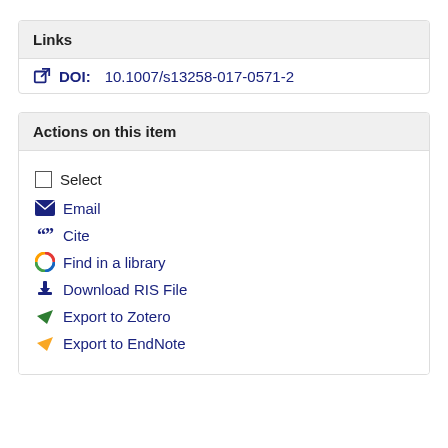Links
DOI: 10.1007/s13258-017-0571-2
Actions on this item
Select
Email
Cite
Find in a library
Download RIS File
Export to Zotero
Export to EndNote